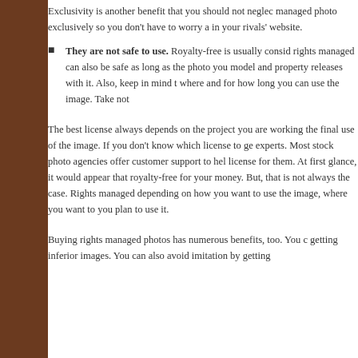Exclusivity is another benefit that you should not neglect. managed photo exclusively so you don't have to worry a in your rivals' website.
They are not safe to use. Royalty-free is usually considered rights managed can also be safe as long as the photo you model and property releases with it. Also, keep in mind that where and for how long you can use the image. Take not
The best license always depends on the project you are working the final use of the image. If you don't know which license to ge experts. Most stock photo agencies offer customer support to hel license for them. At first glance, it would appear that royalty-free for your money. But, that is not always the case. Rights managed depending on how you want to use the image, where you want to you plan to use it.
Buying rights managed photos has numerous benefits, too. You c getting inferior images. You can also avoid imitation by getting